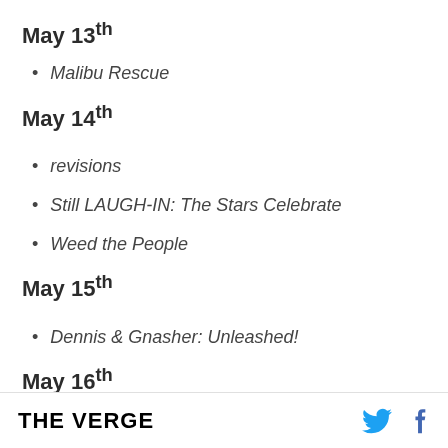May 13th
Malibu Rescue
May 14th
revisions
Still LAUGH-IN: The Stars Celebrate
Weed the People
May 15th
Dennis & Gnasher: Unleashed!
May 16th
THE VERGE